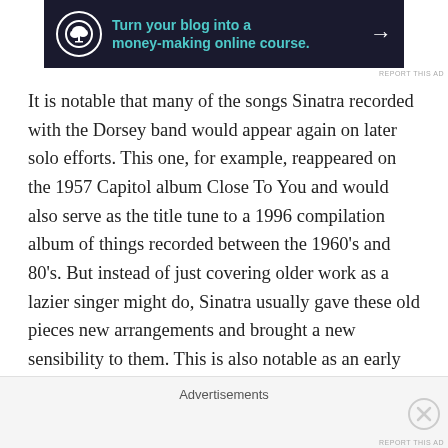[Figure (other): Advertisement banner: dark navy background with bonsai tree icon in circle, teal text 'Turn your blog into a money-making online course.' with white arrow]
REPORT THIS AD
It is notable that many of the songs Sinatra recorded with the Dorsey band would appear again on later solo efforts. This one, for example, reappeared on the 1957 Capitol album Close To You and would also serve as the title tune to a 1996 compilation album of things recorded between the 1960's and 80's. But instead of just covering older work as a lazier singer might do, Sinatra usually gave these old pieces new arrangements and brought a new sensibility to them. This is also notable as an early song about “the girl who got away”, a genre which would become a staple during his career.
Advertisements
REPORT THIS AD